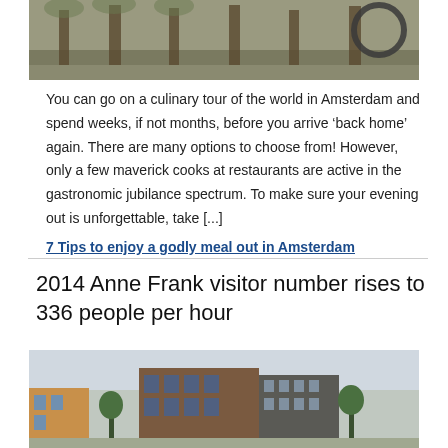[Figure (photo): Outdoor scene with trees and circular sculpture in a park or museum ground]
You can go on a culinary tour of the world in Amsterdam and spend weeks, if not months, before you arrive ‘back home’ again. There are many options to choose from! However, only a few maverick cooks at restaurants are active in the gastronomic jubilance spectrum. To make sure your evening out is unforgettable, take [...]
7 Tips to enjoy a godly meal out in Amsterdam
2014 Anne Frank visitor number rises to 336 people per hour
[Figure (photo): Photo of the Anne Frank House building in Amsterdam with adjacent brick museum extension]